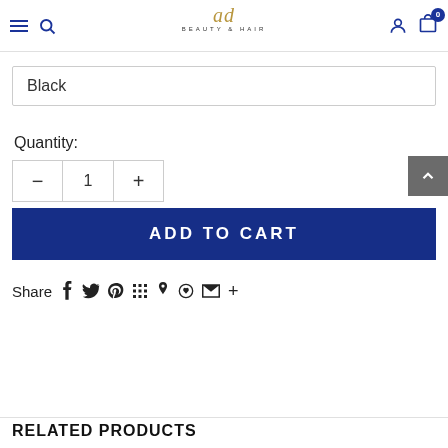ad BEAUTY & HAIR
Black
Quantity:
- 1 +
ADD TO CART
Share f t P ⊞ 🖊 ♡ ✉ +
RELATED PRODUCTS